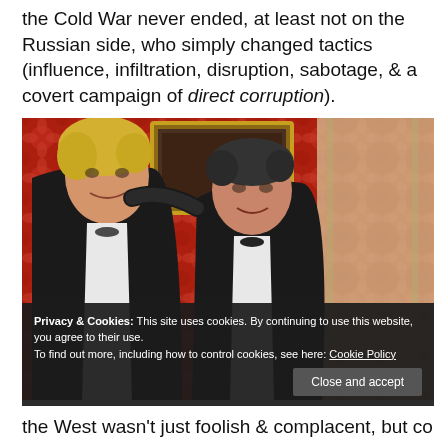the Cold War never ended, at least not on the Russian side, who simply changed tactics (influence, infiltration, disruption, sabotage, & a covert campaign of direct corruption).
[Figure (photo): Two men in black tie (tuxedos) posing together at a formal event with red floral wallpaper and a framed painting in the background. The man on the left has blond hair; the man on the right has dark hair and his arm is around the other man's shoulder. Both are smiling.]
Privacy & Cookies: This site uses cookies. By continuing to use this website, you agree to their use.
To find out more, including how to control cookies, see here: Cookie Policy
Close and accept
the West wasn't just foolish & complacent, but corrupt &